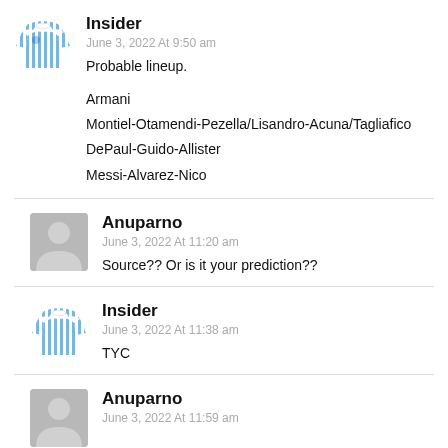[Figure (illustration): Argentina football shirt avatar (blue and white stripes)]
Insider
June 3, 2022 At 9:50 am
Probable lineup.
Armani
Montiel-Otamendi-Pezella/Lisandro-Acuna/Tagliafico
DePaul-Guido-Allister
Messi-Alvarez-Nico
[Figure (illustration): Generic grey person avatar]
Anuparno
June 3, 2022 At 11:20 am
Source?? Or is it your prediction??
[Figure (illustration): Argentina football shirt avatar (blue and white stripes)]
Insider
June 3, 2022 At 11:38 am
TYC
[Figure (illustration): Generic grey person avatar]
Anuparno
June 3, 2022 At 11:59 am